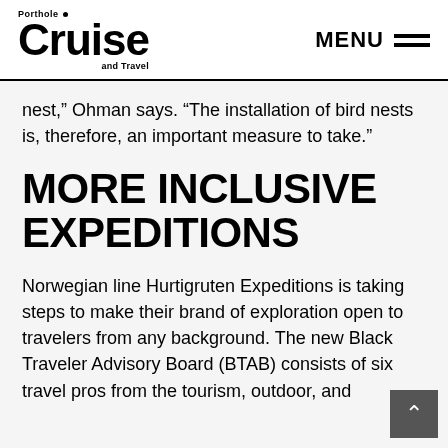Porthole Cruise and Travel — MENU
nest,” Ohman says. “The installation of bird nests is, therefore, an important measure to take.”
MORE INCLUSIVE EXPEDITIONS
Norwegian line Hurtigruten Expeditions is taking steps to make their brand of exploration open to travelers from any background. The new Black Traveler Advisory Board (BTAB) consists of six travel pros from the tourism, outdoor, and